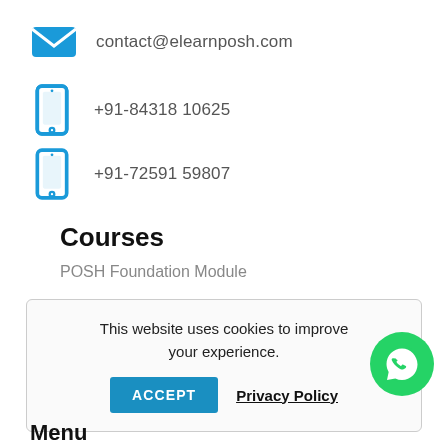contact@elearnposh.com
+91-84318 10625
+91-72591 59807
Courses
POSH Foundation Module
This website uses cookies to improve your experience.
ACCEPT
Privacy Policy
Menu